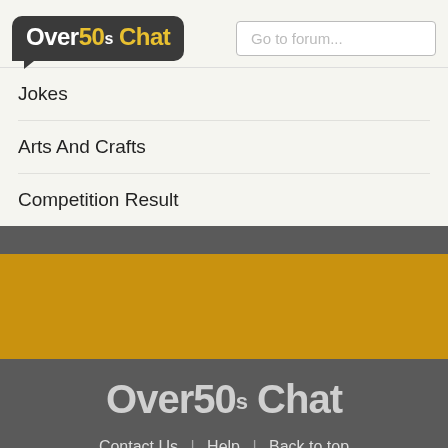Over50s Chat | Go to forum...
Jokes
Arts And Crafts
Competition Result
[Figure (logo): Over50s Chat footer logo in gray band]
Contact Us | Help | Back to top | © Copyright Over 50s Chat | Terms | Privacy & Cookies